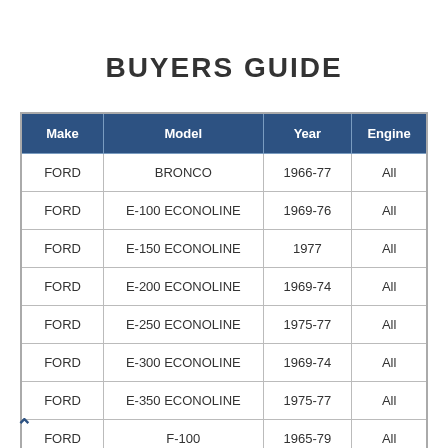BUYERS GUIDE
| Make | Model | Year | Engine |
| --- | --- | --- | --- |
| FORD | BRONCO | 1966-77 | All |
| FORD | E-100 ECONOLINE | 1969-76 | All |
| FORD | E-150 ECONOLINE | 1977 | All |
| FORD | E-200 ECONOLINE | 1969-74 | All |
| FORD | E-250 ECONOLINE | 1975-77 | All |
| FORD | E-300 ECONOLINE | 1969-74 | All |
| FORD | E-350 ECONOLINE | 1975-77 | All |
| FORD | F-100 | 1965-79 | All |
| FORD |  |  |  |